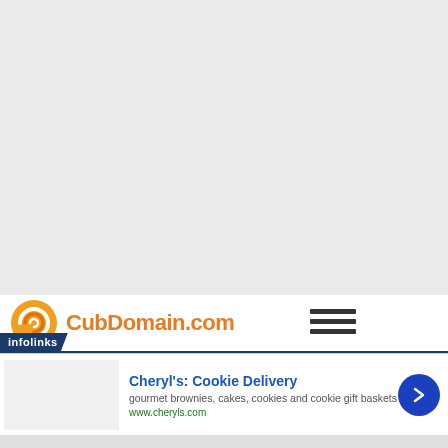[Figure (other): Large light gray blank/empty area filling the top portion of the page]
[Figure (logo): CubDomain.com logo with orange spiral icon and orange text, plus hamburger menu icon on the right]
infolinks
[Figure (screenshot): Advertisement banner for Cheryl's: Cookie Delivery. Shows product image placeholder, bold blue title 'Cheryl's: Cookie Delivery', description 'gourmet brownies, cakes, cookies and cookie gift baskets', green URL 'www.cheryls.com', blue circle arrow button on the right, and X close button at top right.]
Cheryl's: Cookie Delivery
gourmet brownies, cakes, cookies and cookie gift baskets
www.cheryls.com